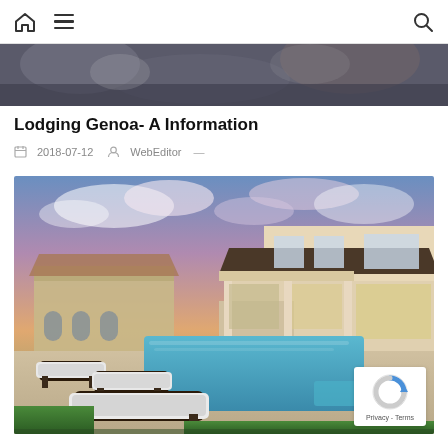Navigation bar with home icon, hamburger menu, and search icon
[Figure (photo): Partial top image showing abstract dark pattern - cropped decorative header image]
Lodging Genoa- A Information
2018-07-12   WebEditor —
[Figure (photo): Luxury home with swimming pool at dusk. Lounge chairs beside a rectangular pool in foreground, two-story modern home with covered patio and large windows in background, dramatic sunset sky with pink and purple clouds, neighboring Mediterranean-style homes visible to the left.]